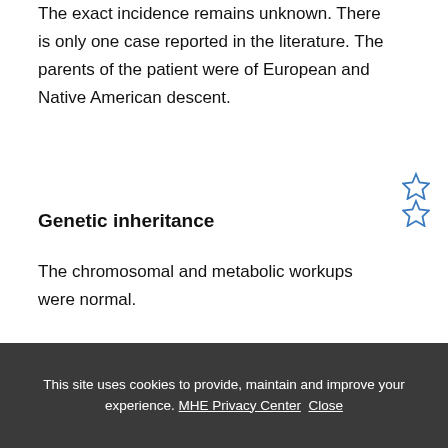The exact incidence remains unknown. There is only one case reported in the literature. The parents of the patient were of European and Native American descent.
Genetic inheritance
The chromosomal and metabolic workups were normal.
Clinical aspects
This site uses cookies to provide, maintain and improve your experience. MHE Privacy Center  Close